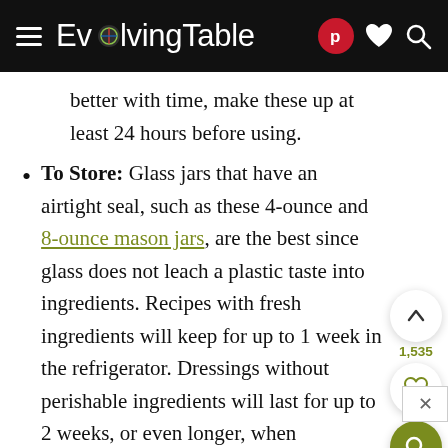EvolvingTable
better with time, make these up at least 24 hours before using.
To Store: Glass jars that have an airtight seal, such as these 4-ounce and 8-ounce mason jars, are the best since glass does not leach a plastic taste into ingredients. Recipes with fresh ingredients will keep for up to 1 week in the refrigerator. Dressings without perishable ingredients will last for up to 2 weeks, or even longer, when refrigerated.
To Freeze: It is not recommended to freeze as the ingredients will separate upon thawing.
To Serve: Allow it to rest at room temperature